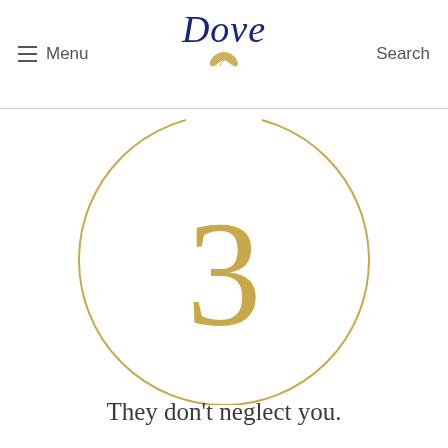Menu | Dove | Search
[Figure (infographic): Large decorative gold circle ring with the number 3 in gold inside]
They don't neglect you.
With a great friend, your life is just as important as hers, and she always remembers to text you straight after your work review to ask you how it went. A great deodorant doesn't neglect you, either – your skin that is – soothing it after